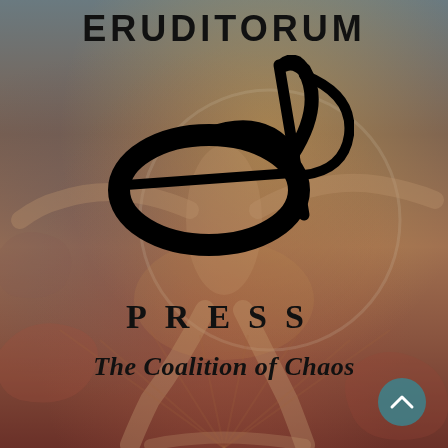[Figure (illustration): Book cover for Eruditorum Press featuring a Blake-style painting of a human figure with outstretched limbs against a warm golden and reddish background with organic cloud-like forms. An 'EP' stylized calligraphic logo is overlaid in the center.]
ERUDITORUM
PRESS
The Coalition of Chaos